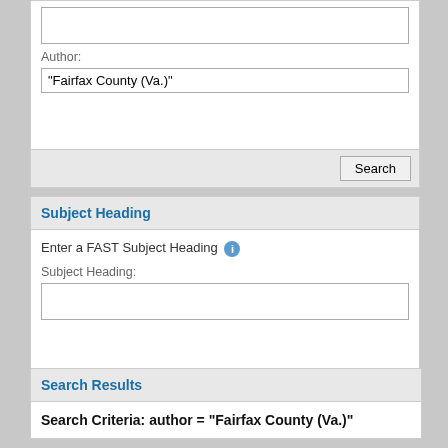Author:
"Fairfax County (Va.)"
Subject Heading
Enter a FAST Subject Heading
Subject Heading:
Search Results
Search Criteria: author = "Fairfax County (Va.)"